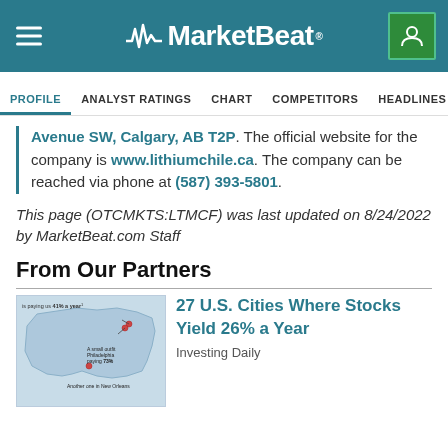MarketBeat
PROFILE   ANALYST RATINGS   CHART   COMPETITORS   HEADLINES   SHORT INT
Avenue SW, Calgary, AB T2P. The official website for the company is www.lithiumchile.ca. The company can be reached via phone at (587) 393-5801.
This page (OTCMKTS:LTMCF) was last updated on 8/24/2022 by MarketBeat.com Staff
From Our Partners
[Figure (map): Map of the United States showing cities paying high stock yields, with annotations including 'is paying us 41% a year', 'A small outfit Philadelphia paying 73%', 'Another one in New Orleans']
27 U.S. Cities Where Stocks Yield 26% a Year
Investing Daily